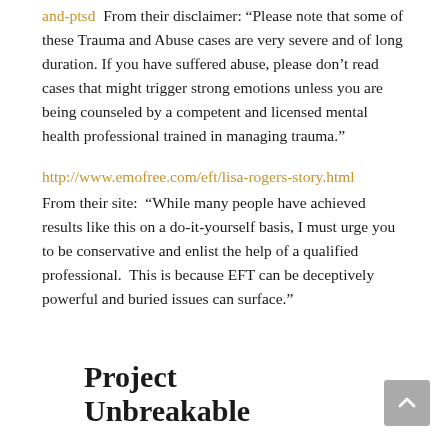and-ptsd  From their disclaimer: “Please note that some of these Trauma and Abuse cases are very severe and of long duration. If you have suffered abuse, please don’t read cases that might trigger strong emotions unless you are being counseled by a competent and licensed mental health professional trained in managing trauma.”
http://www.emofree.com/eft/lisa-rogers-story.html
From their site:  “While many people have achieved results like this on a do-it-yourself basis, I must urge you to be conservative and enlist the help of a qualified professional.  This is because EFT can be deceptively powerful and buried issues can surface.”
Project Unbreakable